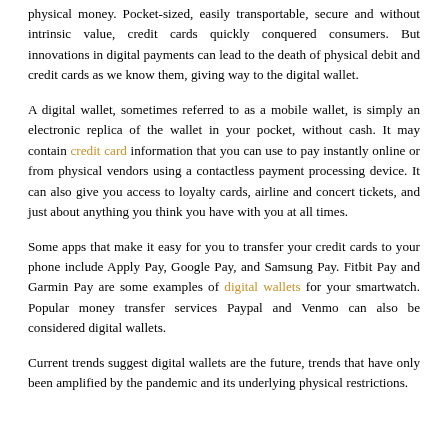physical money. Pocket-sized, easily transportable, secure and without intrinsic value, credit cards quickly conquered consumers. But innovations in digital payments can lead to the death of physical debit and credit cards as we know them, giving way to the digital wallet.
A digital wallet, sometimes referred to as a mobile wallet, is simply an electronic replica of the wallet in your pocket, without cash. It may contain credit card information that you can use to pay instantly online or from physical vendors using a contactless payment processing device. It can also give you access to loyalty cards, airline and concert tickets, and just about anything you think you have with you at all times.
Some apps that make it easy for you to transfer your credit cards to your phone include Apply Pay, Google Pay, and Samsung Pay. Fitbit Pay and Garmin Pay are some examples of digital wallets for your smartwatch. Popular money transfer services Paypal and Venmo can also be considered digital wallets.
Current trends suggest digital wallets are the future, trends that have only been amplified by the pandemic and its underlying physical restrictions.